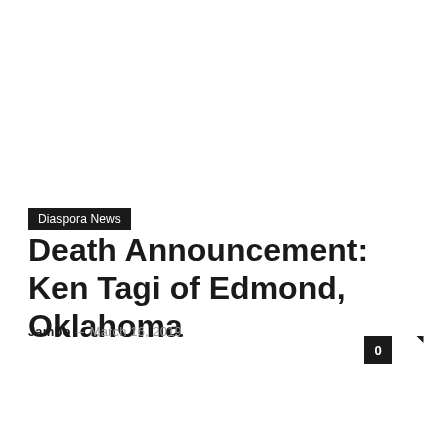Diaspora News
Death Announcement: Ken Tagi of Edmond, Oklahoma
Jambo – March 16, 2019